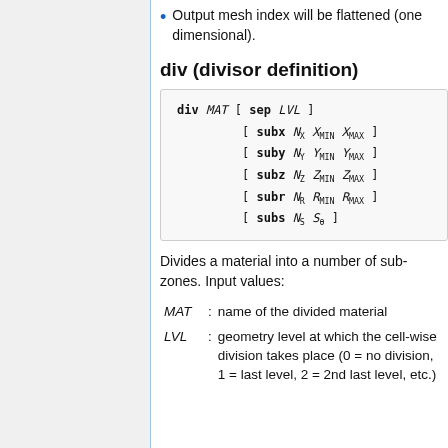Output mesh index will be flattened (one dimensional).
div (divisor definition)
Divides a material into a number of sub-zones. Input values:
MAT : name of the divided material
LVL : geometry level at which the cell-wise division takes place (0 = no division, 1 = last level, 2 = 2nd last level, etc.)